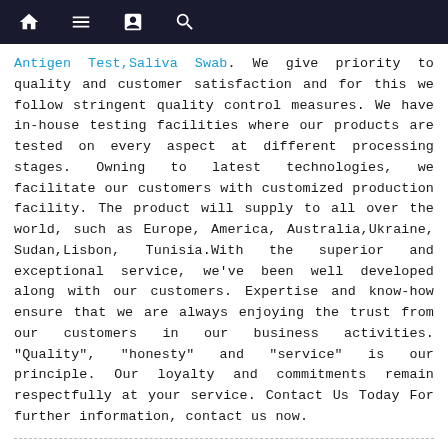[Navigation bar with home, menu, bookmark, and search icons]
Antigen Test,Saliva Swab. We give priority to quality and customer satisfaction and for this we follow stringent quality control measures. We have in-house testing facilities where our products are tested on every aspect at different processing stages. Owning to latest technologies, we facilitate our customers with customized production facility. The product will supply to all over the world, such as Europe, America, Australia,Ukraine, Sudan,Lisbon, Tunisia.With the superior and exceptional service, we've been well developed along with our customers. Expertise and know-how ensure that we are always enjoying the trust from our customers in our business activities. "Quality", "honesty" and "service" is our principle. Our loyalty and commitments remain respectfully at your service. Contact Us Today For further information, contact us now.
Related Products